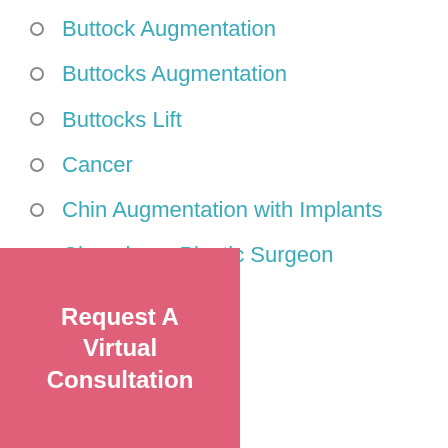Buttock Augmentation
Buttocks Augmentation
Buttocks Lift
Cancer
Chin Augmentation with Implants
Choosing a Plastic Surgeon
couples
Daddy DoOvers
Dumbo ears
Eyelid
...ry
...ques
Request A Virtual Consultation